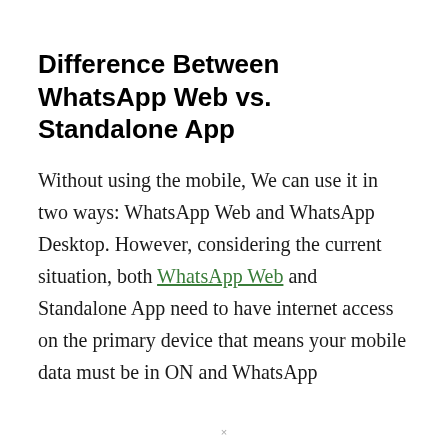Difference Between WhatsApp Web vs. Standalone App
Without using the mobile, We can use it in two ways: WhatsApp Web and WhatsApp Desktop. However, considering the current situation, both WhatsApp Web and Standalone App need to have internet access on the primary device that means your mobile data must be in ON and WhatsApp